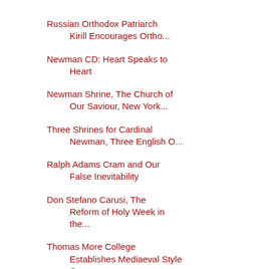Russian Orthodox Patriarch Kirill Encourages Ortho...
Newman CD: Heart Speaks to Heart
Newman Shrine, The Church of Our Saviour, New York...
Three Shrines for Cardinal Newman, Three English O...
Ralph Adams Cram and Our False Inevitability
Don Stefano Carusi, The Reform of Holy Week in the...
Thomas More College Establishes Mediaeval Style Gu...
Lawrence Klimecki Interviews Matthew Alderman on A...